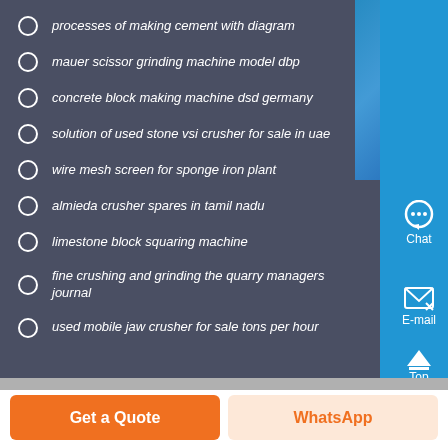processes of making cement with diagram
mauer scissor grinding machine model dbp
concrete block making machine dsd germany
solution of used stone vsi crusher for sale in uae
wire mesh screen for sponge iron plant
almieda crusher spares in tamil nadu
limestone block squaring machine
fine crushing and grinding the quarry managers journal
used mobile jaw crusher for sale tons per hour
Chat
E-mail
Top
Get a Quote
WhatsApp